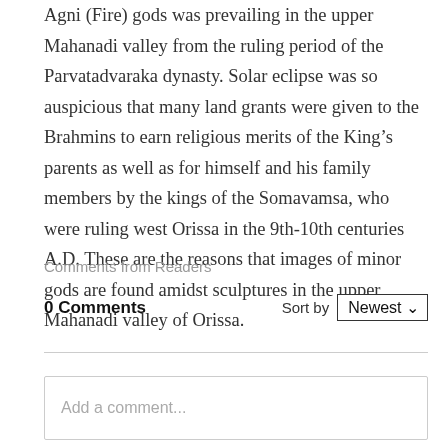Agni (Fire) gods was prevailing in the upper Mahanadi valley from the ruling period of the Parvatadvaraka dynasty. Solar eclipse was so auspicious that many land grants were given to the Brahmins to earn religious merits of the King's parents as well as for himself and his family members by the kings of the Somavamsa, who were ruling west Orissa in the 9th-10th centuries A.D. These are the reasons that images of minor gods are found amidst sculptures in the upper Mahanadi valley of Orissa.
Comments from Readers
0 Comments    Sort by Newest
Add a comment...